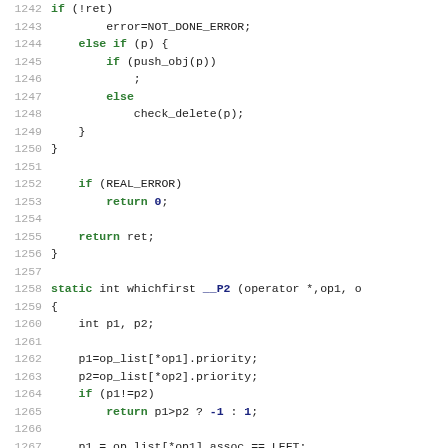[Figure (screenshot): Source code listing in C, lines 1242-1271, showing functions with syntax highlighting: keywords in green/bold, numbers in blue/bold, plain code in dark gray, line numbers in light gray.]